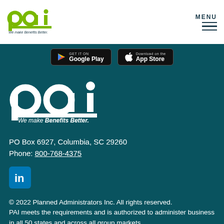[Figure (logo): PAI logo - green stylized letters 'pai' with tagline 'We make Benefits Better.']
[Figure (screenshot): App store download buttons: Google Play and App Store]
[Figure (logo): PAI white logo on teal background with tagline 'We make Benefits Better.']
PO Box 6927, Columbia, SC 29260
Phone: 800-768-4375
[Figure (logo): LinkedIn icon - white 'in' on blue rounded square]
© 2022 Planned Administrators Inc. All rights reserved.
PAI meets the requirements and is authorized to administer business in all 50 states and across all group markets.